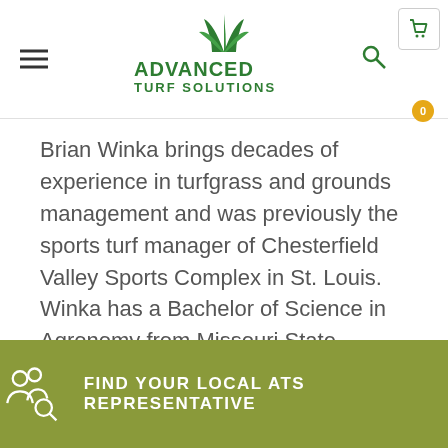Advanced Turf Solutions
Brian Winka brings decades of experience in turfgrass and grounds management and was previously the sports turf manager of Chesterfield Valley Sports Complex in St. Louis. Winka has a Bachelor of Science in Agronomy from Missouri State University and became a Certified Field Manager through the Sports Turf Managers Association (STMA) in 2008. Winka is currently a chairperson for the STMA Certification Committee and is a member of the Editorial Advisory Board for Sports Field Magazine.
FIND YOUR LOCAL ATS REPRESENTATIVE